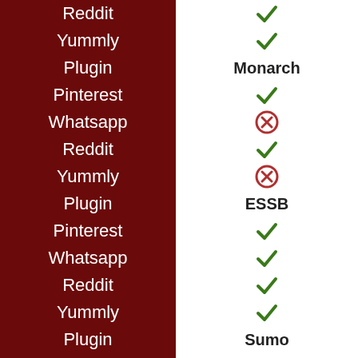| Feature | Value |
| --- | --- |
| Reddit | ✓ |
| Yummly | ✓ |
| Plugin | Monarch |
| Pinterest | ✓ |
| Whatsapp | ✗ |
| Reddit | ✓ |
| Yummly | ✗ |
| Plugin | ESSB |
| Pinterest | ✓ |
| Whatsapp | ✓ |
| Reddit | ✓ |
| Yummly | ✓ |
| Plugin | Sumo |